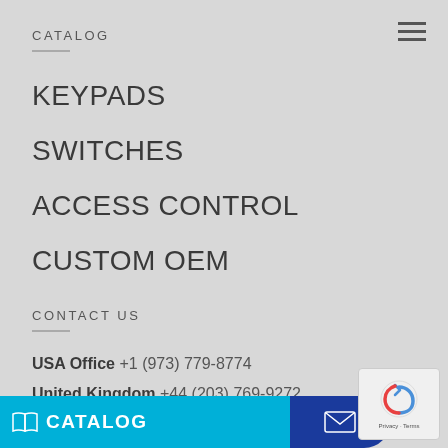CATALOG
KEYPADS
SWITCHES
ACCESS CONTROL
CUSTOM OEM
CONTACT US
USA Office +1 (973) 779-8774
United Kingdom +44 (203) 769-9272
Spain +34 (910) 381-165
CATALOG  [email icon]  ...63